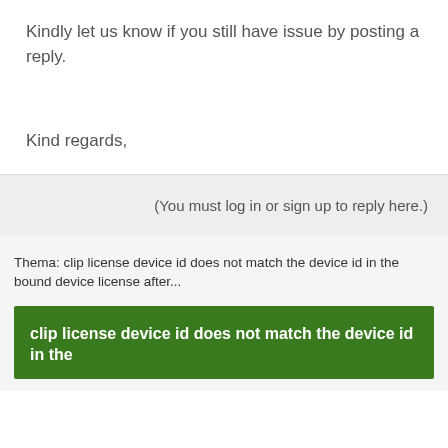Kindly let us know if you still have issue by posting a reply.
Kind regards,
(You must log in or sign up to reply here.)
Thema: clip license device id does not match the device id in the bound device license after...
clip license device id does not match the device id in the